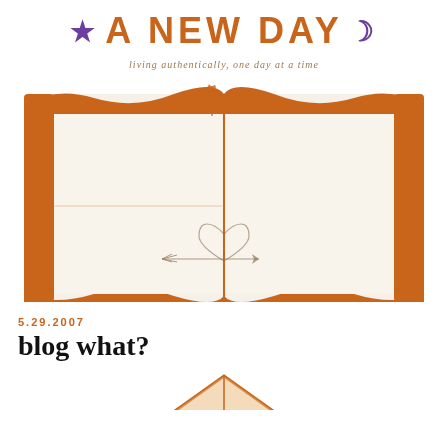★ A NEW DAY ☽
living authentically, one day at a time
[Figure (illustration): Open book illustration with orange/brown decorative border, a maple leaf at the top center, a vertical center line, and a heart with arrow doodle in the lower center]
5.29.2007
blog what?
[Figure (illustration): Partial view of an orange/brown illustrated object at bottom of page]